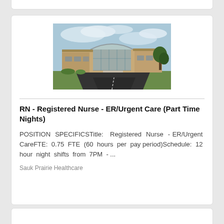[Figure (photo): Exterior photo of Sauk Prairie Healthcare hospital/clinic building. Modern single-story tan brick building with curved glass entrance canopy, parking lot/driveway in foreground, trees and cloudy blue sky in background.]
RN - Registered Nurse - ER/Urgent Care (Part Time Nights)
POSITION SPECIFICSTitle:  Registered Nurse - ER/Urgent CareFTE: 0.75 FTE (60 hours per pay period)Schedule: 12 hour night shifts from 7PM - ...
Sauk Prairie Healthcare